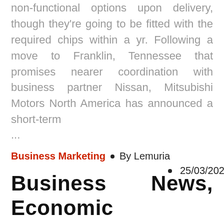non-functional options upon delivery, though they're going to be fitted with the required chips within a yr. Following a move to Franklin, Tennessee that promises nearer coordination with business partner Nissan, Mitsubishi Motors North America has announced a short-term ...
Business Marketing • By Lemuria
• 25/03/2022
Business News, Economic